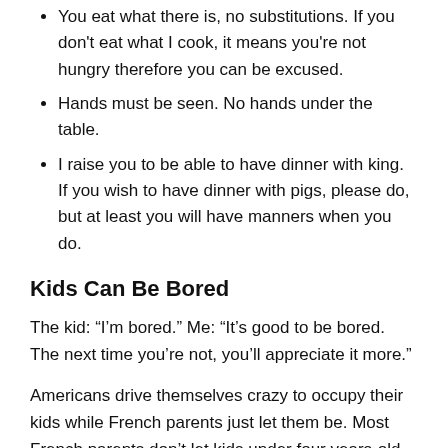You eat what there is, no substitutions. If you don't eat what I cook, it means you're not hungry therefore you can be excused.
Hands must be seen. No hands under the table.
I raise you to be able to have dinner with king. If you wish to have dinner with pigs, please do, but at least you will have manners when you do.
Kids Can Be Bored
The kid: “I’m bored.” Me: “It’s good to be bored. The next time you’re not, you’ll appreciate it more.”
Americans drive themselves crazy to occupy their kids while French parents just let them be. Most French parents don’t let kids under four years-old in front of the